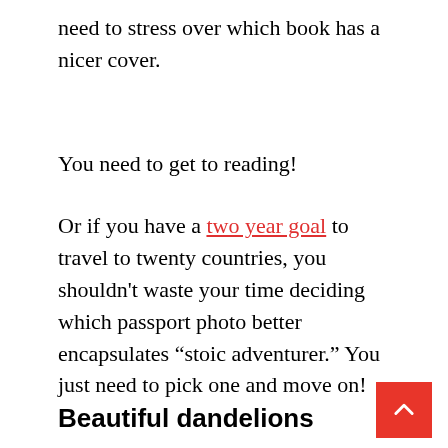need to stress over which book has a nicer cover.
You need to get to reading!
Or if you have a two year goal to travel to twenty countries, you shouldn’t waste your time deciding which passport photo better encapsulates “stoic adventurer.” You just need to pick one and move on!
Beautiful dandelions